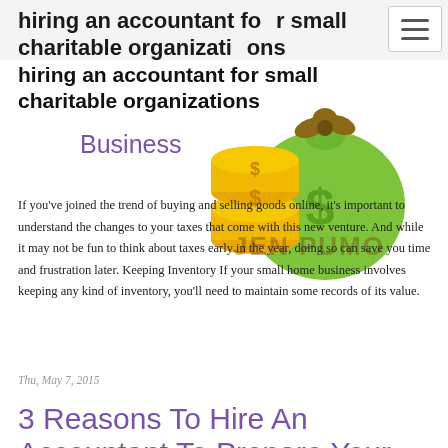hiring an accountant for small charitable organizations
Business
[Figure (illustration): Cartoon illustration of a green money bag with a dollar sign and a stack of gold coins with dollar signs, overlaid with a watermark reading JEN PUMO]
If you've joined the trend of buying and selling goods online, it's important to understand the changes to your taxes that come with this new venture. And while it may not be fun to think about taxes early in the year, doing so can save you time and frustration later. Keeping Inventory If your small home business involves keeping any kind of inventory, you'll need to maintain some records of its value.
Thu, May 7, 2015
3 Reasons To Hire An Accountant To Prepare Your Taxes